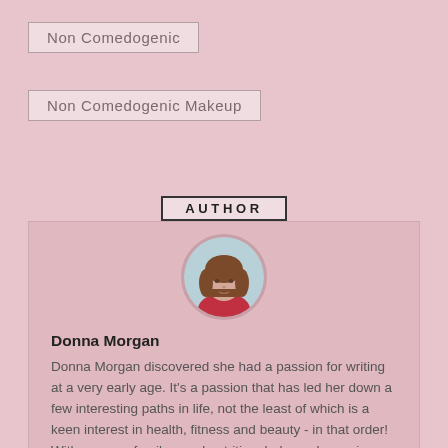Non Comedogenic
Non Comedogenic Makeup
AUTHOR
[Figure (photo): Circular portrait photo of Donna Morgan, a woman with shoulder-length brown hair wearing a red top]
Donna Morgan
Donna Morgan discovered she had a passion for writing at a very early age. It’s a passion that has led her down a few interesting paths in life, not the least of which is a keen interest in health, fitness and beauty - in that order! With a young family, good nutrition, balanced exercise and a healthy beauty regimen have become something of a crusade and she loves nothing more than sharing her discoveries with her readers.